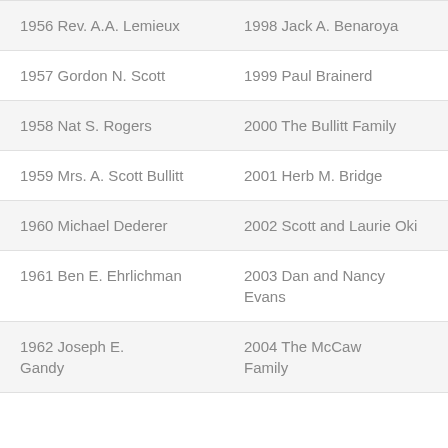| 1956 Rev. A.A. Lemieux | 1998 Jack A. Benaroya |
| 1957 Gordon N. Scott | 1999 Paul Brainerd |
| 1958 Nat S. Rogers | 2000 The Bullitt Family |
| 1959 Mrs. A. Scott Bullitt | 2001 Herb M. Bridge |
| 1960 Michael Dederer | 2002 Scott and Laurie Oki |
| 1961 Ben E. Ehrlichman | 2003 Dan and Nancy Evans |
| 1962 Joseph E. ... | 2004 The McCaw Family... |